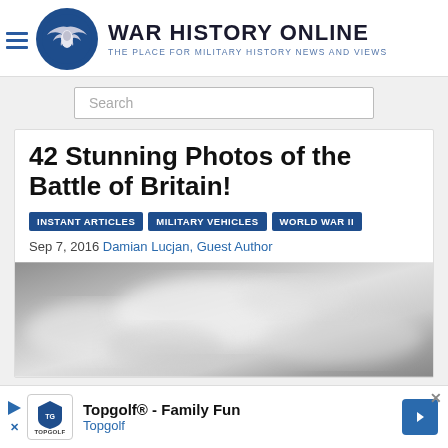WAR HISTORY ONLINE — THE PLACE FOR MILITARY HISTORY NEWS AND VIEWS
42 Stunning Photos of the Battle of Britain!
INSTANT ARTICLES
MILITARY VEHICLES
WORLD WAR II
Sep 7, 2016 Damian Lucjan, Guest Author
[Figure (photo): Greyscale aerial/sky photograph, likely clouds over Britain]
[Figure (other): Topgolf advertisement banner: Topgolf® - Family Fun, Topgolf]